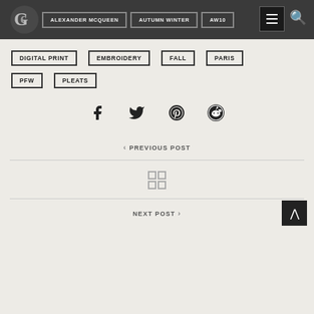Alexander McQueen | Autumn Winter | AW10
DIGITAL PRINT
EMBROIDERY
FALL
PARIS
PFW
PLEATS
[Figure (infographic): Social media share icons: Facebook, Twitter, Pinterest, Reddit]
< PREVIOUS POST
NEXT POST >